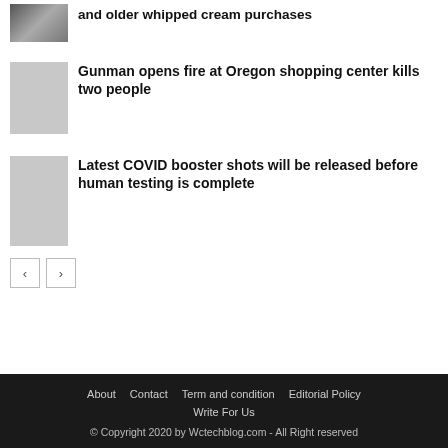[Figure (photo): Thumbnail image of a can (whipped cream) in a store setting]
and older whipped cream purchases
Gunman opens fire at Oregon shopping center kills two people
Latest COVID booster shots will be released before human testing is complete
« »
About   Contact   Term and condition   Editorial Policy   Write For Us
© Copyright 2020 by Wctechblog.com - All Right reserved